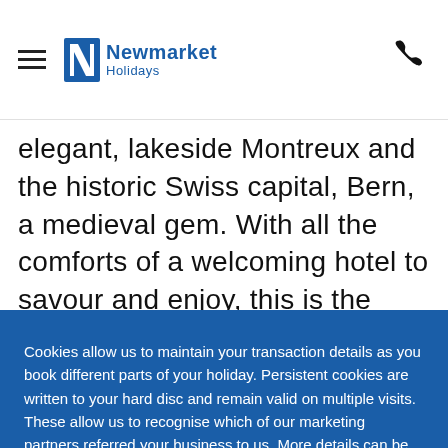Newmarket Holidays
elegant, lakeside Montreux and the historic Swiss capital, Bern, a medieval gem. With all the comforts of a welcoming hotel to savour and enjoy, this is the
Cookies allow us to maintain your transaction details as you book different parts of your holiday. Persistent cookies are written to your hard disc and remain valid on multiple visits. These allow us to recognise which of our marketing partners referred your business to us. More details can be found in our privacy policy.
Accept